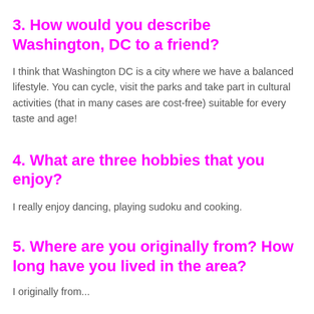3. How would you describe Washington, DC to a friend?
I think that Washington DC is a city where we have a balanced lifestyle. You can cycle, visit the parks and take part in cultural activities (that in many cases are cost-free) suitable for every taste and age!
4. What are three hobbies that you enjoy?
I really enjoy dancing, playing sudoku and cooking.
5. Where are you originally from? How long have you lived in the area?
I originally from...